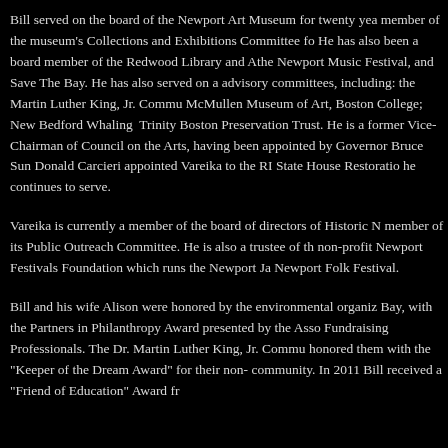Bill served on the board of the Newport Art Museum for twenty years, as a member of the museum's Collections and Exhibitions Committee for many years. He has also been a board member of the Redwood Library and Atheneum, Newport Music Festival, and Save The Bay. He has also served on a number of advisory committees, including: the Martin Luther King, Jr. Community Center; McMullen Museum of Art, Boston College; New Bedford Whaling Museum; and Trinity Boston Preservation Trust. He is a former Vice-Chairman of the Rhode Island Council on the Arts, having been appointed by Governor Bruce Sundlun. Governor Donald Carcieri appointed Vareika to the RI State House Restoration Committee, on which he continues to serve.
Vareika is currently a member of the board of directors of Historic Newport, and a member of its Public Outreach Committee. He is also a trustee of the non-profit Newport Festivals Foundation which runs the Newport Jazz Festival and Newport Folk Festival.
Bill and his wife Alison were honored by the environmental organization Save The Bay, with the Partners in Philanthropy Award presented by the Association of Fundraising Professionals. The Dr. Martin Luther King, Jr. Community Center honored them with the "Keeper of the Dream Award" for their non-profit work in the community. In 2011 Bill received a "Friend of Education" Award fr